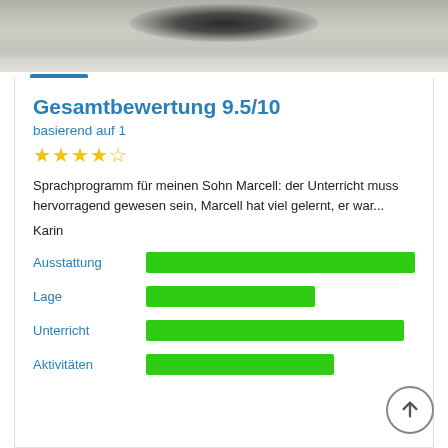[Figure (photo): Top portion of a photo showing a ground surface, possibly a sports field or road, with a dark smudge or shadow near the top center.]
Gesamtbewertung 9.5/10
basierend auf 1
★★★★★
Sprachprogramm für meinen Sohn Marcell: der Unterricht muss hervorragend gewesen sein, Marcell hat viel gelernt, er war...
Karin
Ausstattung
[Figure (bar-chart): Horizontal green bar for Ausstattung rating, nearly full width]
Lage
[Figure (bar-chart): Horizontal green bar for Lage rating, about 60% width]
Unterricht
[Figure (bar-chart): Horizontal green bar for Unterricht rating, nearly full width]
Aktivitäten